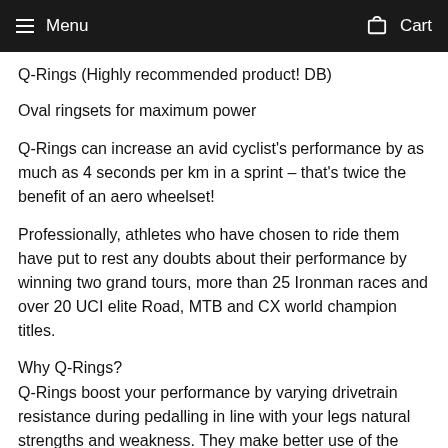Menu   Cart
Q-Rings (Highly recommended product! DB)
Oval ringsets for maximum power
Q-Rings can increase an avid cyclist's performance by as much as 4 seconds per km in a sprint – that's twice the benefit of an aero wheelset!
Professionally, athletes who have chosen to ride them have put to rest any doubts about their performance by winning two grand tours, more than 25 Ironman races and over 20 UCI elite Road, MTB and CX world champion titles.
Why Q-Rings?
Q-Rings boost your performance by varying drivetrain resistance during pedalling in line with your legs natural strengths and weakness. They make better use of the strongest muscle groups (increasing positive work) and